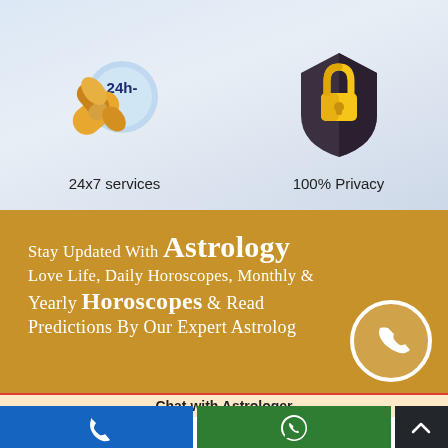[Figure (illustration): 24x7 services icon: golden phone handset with blue clock circle showing '24h-']
24x7 services
[Figure (illustration): 100% Privacy icon: golden padlock on dark shield]
100% Privacy
Stay Updated With Astrology Love Life, Daily Horoscopes, Monthly & Yearly Horoscopes & Read Predictions By Our Expert Astrologer
[Figure (illustration): White circle with white phone handset icon]
Chat with Astrologer
[Figure (illustration): Footer bar with blue phone button, green WhatsApp button, dark up-arrow button]